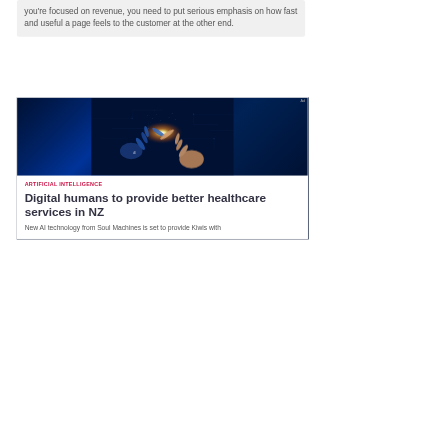you're focused on revenue, you need to put serious emphasis on how fast and useful a page feels to the customer at the other end.
[Figure (photo): Two hands reaching toward each other fingertip to fingertip against a dark blue digital/circuit background with a bright glowing light at the point where the fingertips meet — one hand appears robotic/mechanical and the other is a human hand.]
ARTIFICIAL INTELLIGENCE
Digital humans to provide better healthcare services in NZ
New AI technology from Soul Machines is set to provide Kiwis with